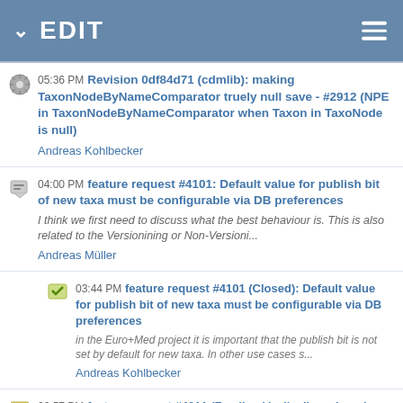EDIT
05:36 PM Revision 0df84d71 (cdmlib): making TaxonNodeByNameComparator truely null save - #2912 (NPE in TaxonNodeByNameComparator when Taxon in TaxoNode is null)
Andreas Kohlbecker
04:00 PM feature request #4101: Default value for publish bit of new taxa must be configurable via DB preferences
I think we first need to discuss what the best behaviour is. This is also related to the Versionining or Non-Versioni...
Andreas Müller
03:44 PM feature request #4101 (Closed): Default value for publish bit of new taxa must be configurable via DB preferences
in the Euro+Med project it is important that the publish bit is not set by default for new taxa. In other use cases s...
Andreas Kohlbecker
03:57 PM feature request #4011 (Feedback): disallow changing publish flag for users with insuffcient rights
a regression occurred, reported by eckhard:
- als Cichorieae-Editor habe ich ein neues Taxon eingegeben.